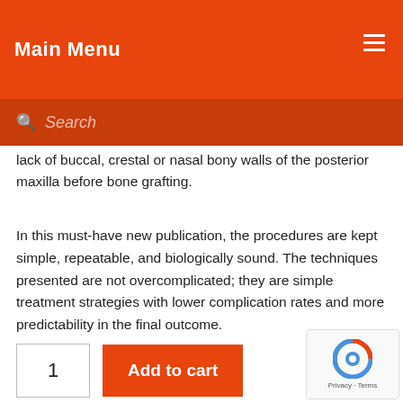Main Menu
lack of buccal, crestal or nasal bony walls of the posterior maxilla before bone grafting.
In this must-have new publication, the procedures are kept simple, repeatable, and biologically sound. The techniques presented are not overcomplicated; they are simple treatment strategies with lower complication rates and more predictability in the final outcome.
[Figure (other): Add to cart button with quantity input (value 1) and reCAPTCHA widget]